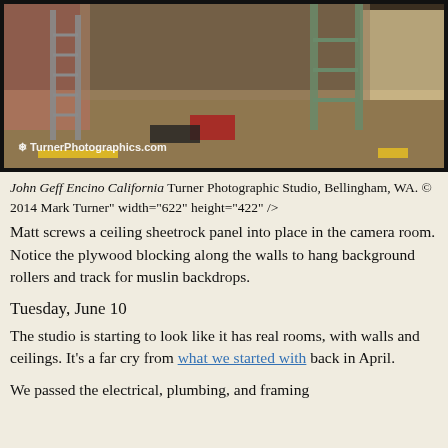[Figure (photo): Construction interior photo showing a room under renovation with ladders, building materials, and exposed wall framing. TurnerPhotographics.com watermark visible in lower left.]
John Geff Encino California Turner Photographic Studio, Bellingham, WA. © 2014 Mark Turner" width="622" height="422" />
Matt screws a ceiling sheetrock panel into place in the camera room. Notice the plywood blocking along the walls to hang background rollers and track for muslin backdrops.
Tuesday, June 10
The studio is starting to look like it has real rooms, with walls and ceilings. It's a far cry from what we started with back in April.
We passed the electrical, plumbing, and framing